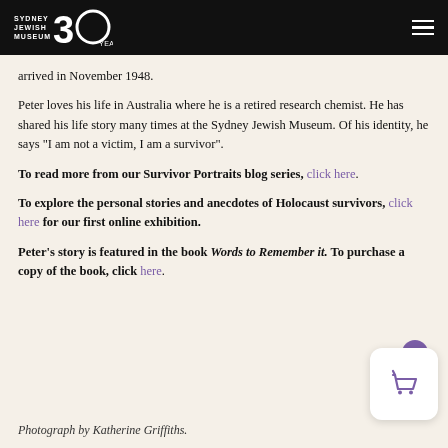Sydney Jewish Museum 30 Years
arrived in November 1948.
Peter loves his life in Australia where he is a retired research chemist. He has shared his life story many times at the Sydney Jewish Museum. Of his identity, he says "I am not a victim, I am a survivor".
To read more from our Survivor Portraits blog series, click here.
To explore the personal stories and anecdotes of Holocaust survivors, click here for our first online exhibition.
Peter's story is featured in the book Words to Remember it. To purchase a copy of the book, click here.
Photograph by Katherine Griffiths.